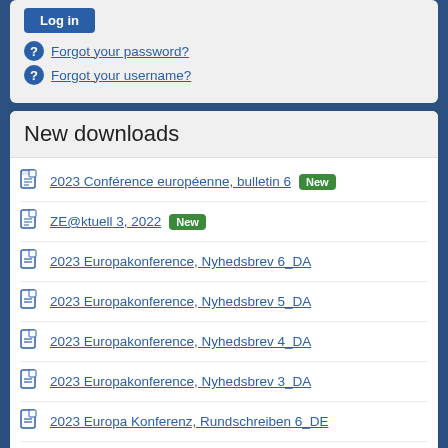[Figure (screenshot): Login form partial — button and forgot password/username links on grey background]
New downloads
2023 Conférence européenne, bulletin 6 [New]
ZE@ktuell 3, 2022 [New]
2023 Europakonference, Nyhedsbrev 6_DA
2023 Europakonference, Nyhedsbrev 5_DA
2023 Europakonference, Nyhedsbrev 4_DA
2023 Europakonference, Nyhedsbrev 3_DA
2023 Europa Konferenz, Rundschreiben 6_DE
2023 Europa Konferenz, Rundschreiben 3_DE
2023 Europe Conference, Newsletter 6
2023 Europa Konferenz, Rundschreiben (partial)